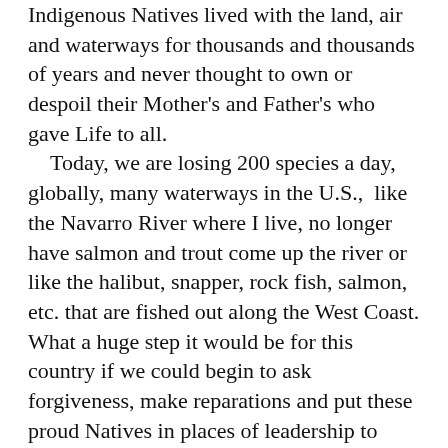Indigenous Natives lived with the land, air and waterways for thousands and thousands of years and never thought to own or despoil their Mother's and Father's who gave Life to all.
Today, we are losing 200 species a day, globally, many waterways in the U.S., like the Navarro River where I live, no longer have salmon and trout come up the river or like the halibut, snapper, rock fish, salmon, etc. that are fished out along the West Coast.
What a huge step it would be for this country if we could begin to ask forgiveness, make reparations and put these proud Natives in places of leadership to teach us how to be good stewards and hold deep reverence and respect for Nature so that she may heal and provide for the next seven generations to come.
RECONSIDER COLUMBUS DAY AD: Columbus Day, a day that our government has deemed worthy of remembrance. But with all due respect—with all due respect—with all due respect, they have a duty to the land they were asked for